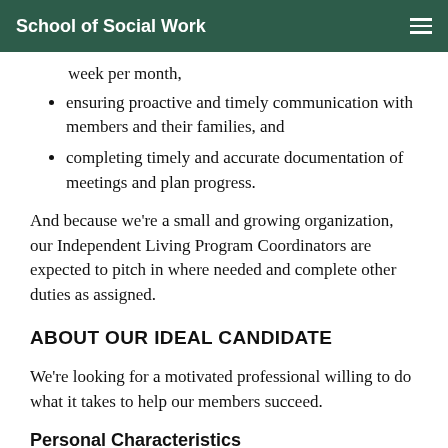School of Social Work
week per month,
ensuring proactive and timely communication with members and their families, and
completing timely and accurate documentation of meetings and plan progress.
And because we're a small and growing organization, our Independent Living Program Coordinators are expected to pitch in where needed and complete other duties as assigned.
ABOUT OUR IDEAL CANDIDATE
We're looking for a motivated professional willing to do what it takes to help our members succeed.
Personal Characteristics